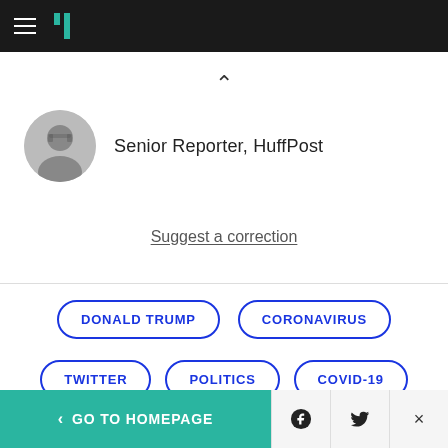HuffPost navigation bar with hamburger menu and logo
[Figure (illustration): Round grayscale author headshot photo of a man with glasses]
Senior Reporter, HuffPost
Suggest a correction
DONALD TRUMP
CORONAVIRUS
TWITTER
POLITICS
COVID-19
VIEW COMMENTS
< GO TO HOMEPAGE | Facebook | Twitter | X